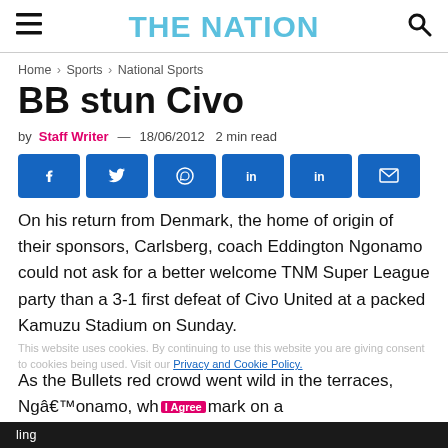THE NATION
Home > Sports > National Sports
BB stun Civo
by Staff Writer — 18/06/2012 2 min read
[Figure (other): Social sharing buttons: Facebook, Twitter, WhatsApp, LinkedIn, LinkedIn, Email]
On his return from Denmark, the home of origin of their sponsors, Carlsberg, coach Eddington Ngonamo could not ask for a better welcome TNM Super League party than a 3-1 first defeat of Civo United at a packed Kamuzu Stadium on Sunday.
As the Bullets red crowd went wild in the terraces, Ngâ€™onamo, wh...mark on a
This website uses cookies. By continuing to use this website you are giving consent to cookies being used. Visit our Privacy and Cookie Policy. I Agree